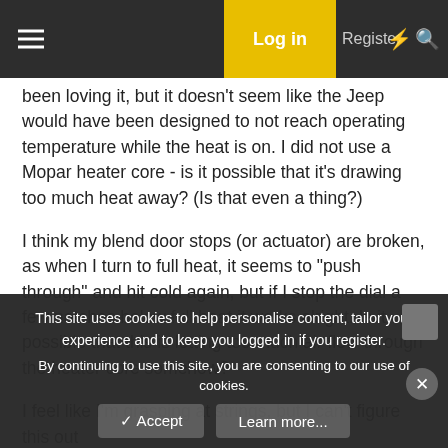Log in | Register
been loving it, but it doesn't seem like the Jeep would have been designed to not reach operating temperature while the heat is on. I did not use a Mopar heater core - is it possible that it's drawing too much heat away? (Is that even a thing?)
I think my blend door stops (or actuator) are broken, as when I turn to full heat, it seems to "push through" and hit cold again, but if I stop the dial a few notches below full heat it works alright. Is it possible that this is letting too much air flow through the heater core somehow?
I feel like I'm grasping at strings, but I can't figure this out
This site uses cookies to help personalise content, tailor your experience and to keep you logged in if you register.
By continuing to use this site, you are consenting to our use of cookies.